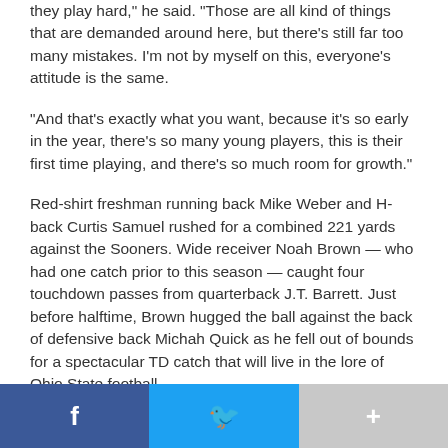they play hard," he said. "Those are all kind of things that are demanded around here, but there's still far too many mistakes. I'm not by myself on this, everyone's attitude is the same.
"And that's exactly what you want, because it's so early in the year, there's so many young players, this is their first time playing, and there's so much room for growth."
Red-shirt freshman running back Mike Weber and H-back Curtis Samuel rushed for a combined 221 yards against the Sooners. Wide receiver Noah Brown — who had one catch prior to this season — caught four touchdown passes from quarterback J.T. Barrett. Just before halftime, Brown hugged the ball against the back of defensive back Michah Quick as he fell out of bounds for a spectacular TD catch that will live in the lore of Ohio State football.
The Buckeyes defense picked up its eighth and nine...
Facebook Twitter +